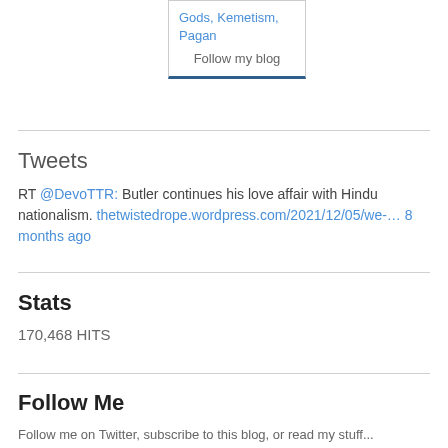[Figure (other): Blog widget box with tags 'Gods, Kemetism, Pagan' and 'Follow my blog' link, with a dark blue bottom border]
Tweets
RT @DevoTTR: Butler continues his love affair with Hindu nationalism. thetwistedrope.wordpress.com/2021/12/05/we-… 8 months ago
Stats
170,468 HITS
Follow Me
Follow me on Twitter, subscribe to this blog, or read my stuff...